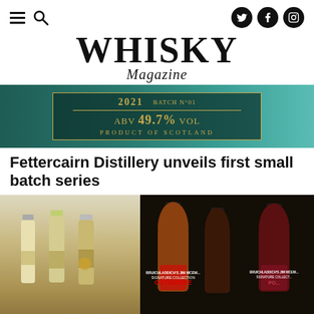Navigation bar with hamburger menu, search icon, and social icons (Twitter, Facebook, Instagram)
WHISKY Magazine
[Figure (photo): Close-up of a Fettercairn whisky bottle label showing 2021 vintage, Batch number, ABV 49.7% vol, Product of Scotland, with teal/green background]
Fettercairn Distillery unveils first small batch series
[Figure (photo): Three small whisky bottles (miniatures) with gold/green labels on a beige/tan background]
[Figure (photo): Three dark Octomore whisky bottles (Bruichladdich Jim McEwan Signature Collection) on a dark background]